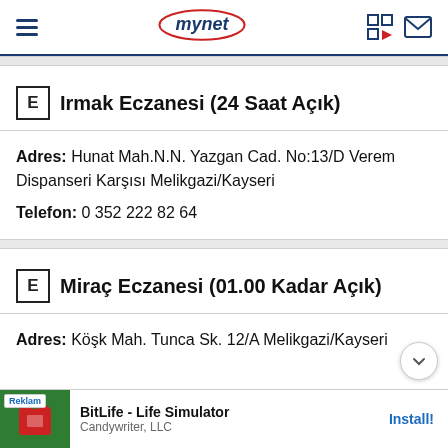mynet
Irmak Eczanesi (24 Saat Açık)
Adres: Hunat Mah.N.N. Yazgan Cad. No:13/D Verem Dispanseri Karşısı Melikgazi/Kayseri
Telefon: 0 352 222 82 64
Miraç Eczanesi (01.00 Kadar Açık)
Adres: Köşk Mah. Tunca Sk. 12/A Melikgazi/Kayseri
[Figure (infographic): Advertisement banner for BitLife - Life Simulator by Candywriter, LLC with Install button]